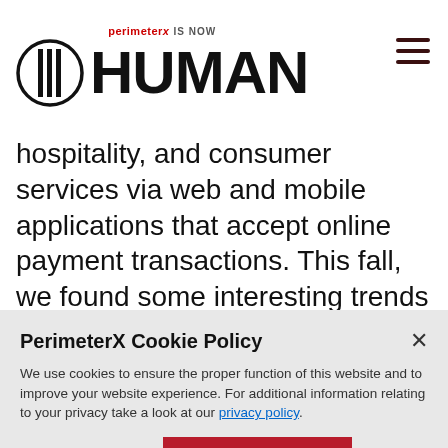[Figure (logo): PerimeterX is now HUMAN logo with shield icon and hamburger menu]
hospitality, and consumer services via web and mobile applications that accept online payment transactions. This fall, we found some interesting trends in malicious carding attacks leading into the holiday season.
PerimeterX Cookie Policy
We use cookies to ensure the proper function of this website and to improve your website experience. For additional information relating to your privacy take a look at our privacy policy.
Cookies Settings  Accept All Cookies